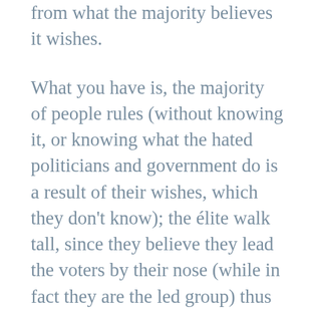from what the majority believes it wishes.
What you have is, the majority of people rules (without knowing it, or knowing what the hated politicians and government do is a result of their wishes, which they don't know); the élite walk tall, since they believe they lead the voters by their nose (while in fact they are the led group) thus they feel powerful.
And democracy is seen as a failure, or broken, due to its marked undemocratic-ness, which the élite proudly and self-assuredly believe their achievement